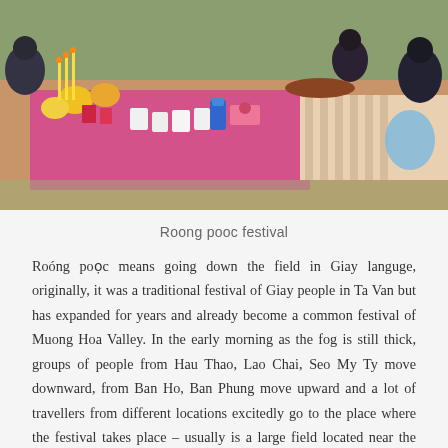[Figure (photo): Outdoor festival scene showing people gathered around colorful food and drink offerings laid out on mats on the ground, including fruits, cups, and decorative items at what appears to be the Roong pooc festival.]
Roong pooc festival
Roóng poọc means going down the field in Giay languge, originally, it was a traditional festival of Giay people in Ta Van but has expanded for years and already become a common festival of Muong Hoa Valley. In the early morning as the fog is still thick, groups of people from Hau Thao, Lao Chai, Seo My Ty move downward, from Ban Ho, Ban Phung move upward and a lot of travellers from different locations excitedly go to the place where the festival takes place – usually is a large field located near the romantic Muong Hoa stream. As you reach the place, you will see a very high cloth-ball tree made from an apricot tree with a circle on top in